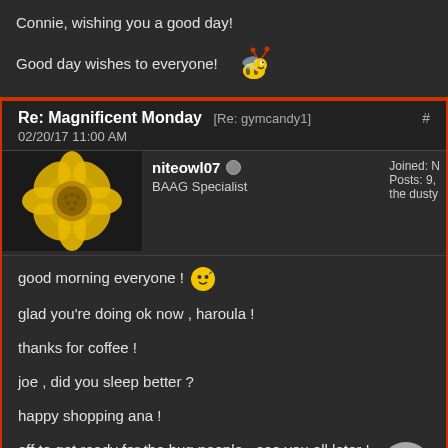Connie, wishing you a good day!
Good day wishes to everyone! 🐝
Re: Magnificent Monday [Re: gymcandy1] 02/20/17 11:00 AM #
niteowl07 | BAAG Specialist | Joined: N... | Posts: 9,... | the dusty...
good morning everyone ! 😊
glad you're doing ok now , haroula !
thanks for coffee !
joe , did you sleep better ?
happy shopping ana !
off to get ready for the bug people - see you all later !
have a great day !